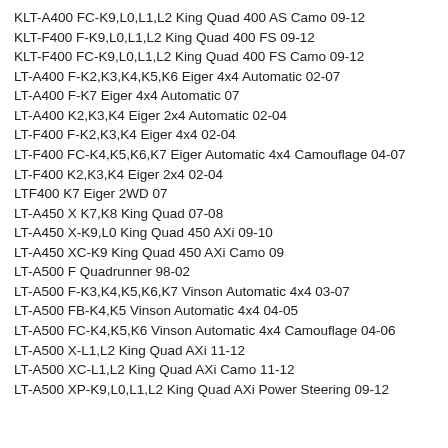KLT-A400 FC-K9,L0,L1,L2 King Quad 400 AS Camo 09-12
KLT-F400 F-K9,L0,L1,L2 King Quad 400 FS 09-12
KLT-F400 FC-K9,L0,L1,L2 King Quad 400 FS Camo 09-12
LT-A400 F-K2,K3,K4,K5,K6 Eiger 4x4 Automatic 02-07
LT-A400 F-K7 Eiger 4x4 Automatic 07
LT-A400 K2,K3,K4 Eiger 2x4 Automatic 02-04
LT-F400 F-K2,K3,K4 Eiger 4x4 02-04
LT-F400 FC-K4,K5,K6,K7 Eiger Automatic 4x4 Camouflage 04-07
LT-F400 K2,K3,K4 Eiger 2x4 02-04
LTF400 K7 Eiger 2WD 07
LT-A450 X K7,K8 King Quad 07-08
LT-A450 X-K9,L0 King Quad 450 AXi 09-10
LT-A450 XC-K9 King Quad 450 AXi Camo 09
LT-A500 F Quadrunner 98-02
LT-A500 F-K3,K4,K5,K6,K7 Vinson Automatic 4x4 03-07
LT-A500 FB-K4,K5 Vinson Automatic 4x4 04-05
LT-A500 FC-K4,K5,K6 Vinson Automatic 4x4 Camouflage 04-06
LT-A500 X-L1,L2 King Quad AXi 11-12
LT-A500 XC-L1,L2 King Quad AXi Camo 11-12
LT-A500 XP-K9,L0,L1,L2 King Quad AXi Power Steering 09-12